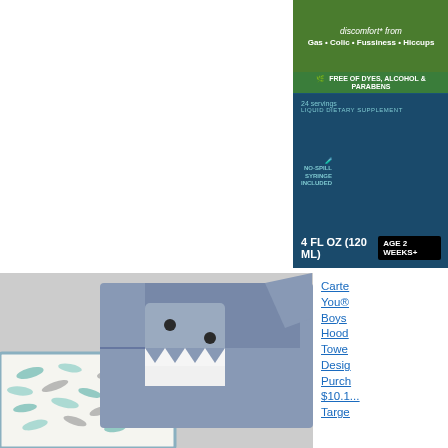[Figure (photo): Baby gas drops product packaging - green and dark blue box. Text: 'discomfort* from Gas • Colic • Fussiness • Hiccups', 'FREE OF DYES, ALCOHOL & PARABENS', '24 servings LIQUID DIETARY SUPPLEMENT', 'NO-SPILL SYRINGE INCLUDED', '4 FL OZ (120 ML)', 'AGE 2 WEEKS+']
[Figure (photo): Carter's Just One You Boys' Hooded Towel with shark design - blue terry cloth hooded towel shaped like a shark with teeth, accompanied by white muslin blanket with teal and gray shark print pattern.]
Carter's Just One You® Boys' Hooded Towel Shark Design - Purchased at Target $10.1... Target